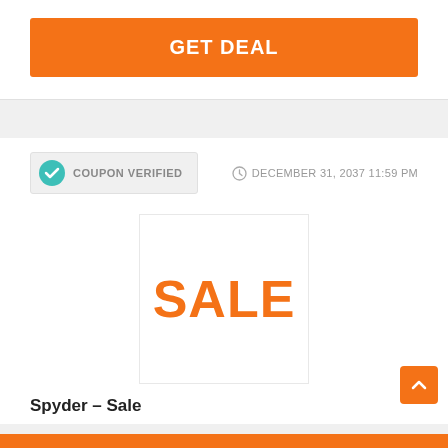GET DEAL
COUPON VERIFIED
DECEMBER 31, 2037 11:59 PM
[Figure (illustration): A white box with the word SALE in large orange bold text]
Spyder – Sale